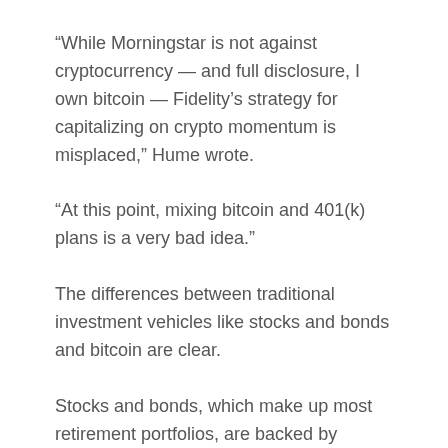“While Morningstar is not against cryptocurrency — and full disclosure, I own bitcoin — Fidelity’s strategy for capitalizing on crypto momentum is misplaced,” Hume wrote.
“At this point, mixing bitcoin and 401(k) plans is a very bad idea.”
The differences between traditional investment vehicles like stocks and bonds and bitcoin are clear.
Stocks and bonds, which make up most retirement portfolios, are backed by underlying cash flows in the form of dividends or interest payments. These allow analysts to model or estimate the future prices of these investments.
On the other hand, bitcoin has no underlying assets, Hume said.
“The lack of fundamentals and valuations makes it a poor choice for a 401(k) plan,” she said, adding that bitcoin’s price is usually